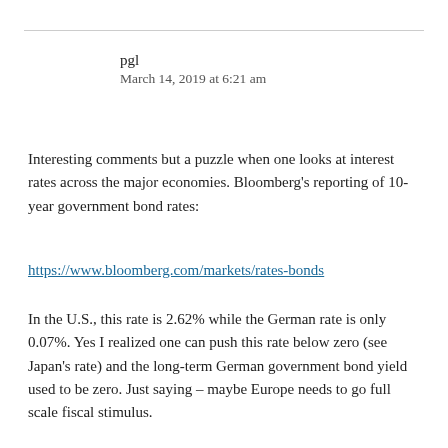pgl
March 14, 2019 at 6:21 am
Interesting comments but a puzzle when one looks at interest rates across the major economies. Bloomberg's reporting of 10-year government bond rates:
https://www.bloomberg.com/markets/rates-bonds
In the U.S., this rate is 2.62% while the German rate is only 0.07%. Yes I realized one can push this rate below zero (see Japan's rate) and the long-term German government bond yield used to be zero. Just saying – maybe Europe needs to go full scale fiscal stimulus.